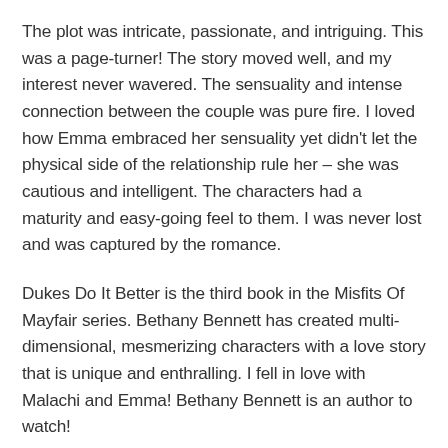The plot was intricate, passionate, and intriguing. This was a page-turner! The story moved well, and my interest never wavered. The sensuality and intense connection between the couple was pure fire. I loved how Emma embraced her sensuality yet didn't let the physical side of the relationship rule her – she was cautious and intelligent. The characters had a maturity and easy-going feel to them. I was never lost and was captured by the romance.
Dukes Do It Better is the third book in the Misfits Of Mayfair series. Bethany Bennett has created multi-dimensional, mesmerizing characters with a love story that is unique and enthralling. I fell in love with Malachi and Emma! Bethany Bennett is an author to watch!